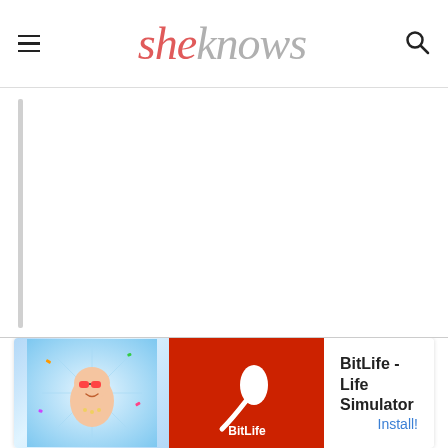sheknows
[Figure (screenshot): White content area with a light grey vertical bar on the left side]
[Figure (other): Ad banner for BitLife - Life Simulator app with cartoon character image on blue background, BitLife logo on red background, and Install button]